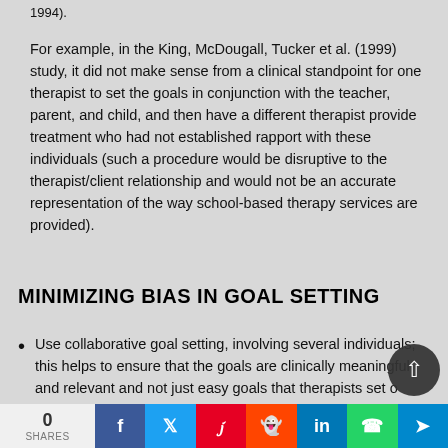1994).
For example, in the King, McDougall, Tucker et al. (1999) study, it did not make sense from a clinical standpoint for one therapist to set the goals in conjunction with the teacher, parent, and child, and then have a different therapist provide treatment who had not established rapport with these individuals (such a procedure would be disruptive to the therapist/client relationship and would not be an accurate representation of the way school-based therapy services are provided).
MINIMIZING BIAS IN GOAL SETTING
Use collaborative goal setting, involving several individuals; this helps to ensure that the goals are clinically meaningful and relevant and not just easy goals that therapists set o…